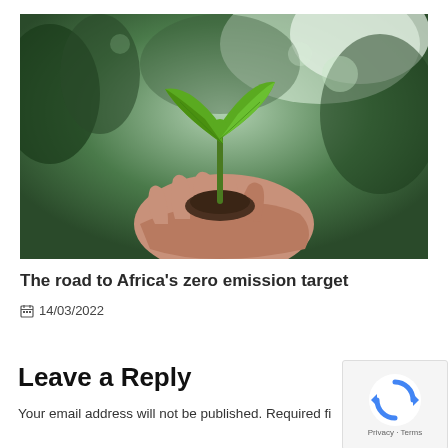[Figure (photo): A hand holding a small green seedling plant with two leaves against a blurred green forest background]
The road to Africa's zero emission target
📅 14/03/2022
Leave a Reply
Your email address will not be published. Required fi…